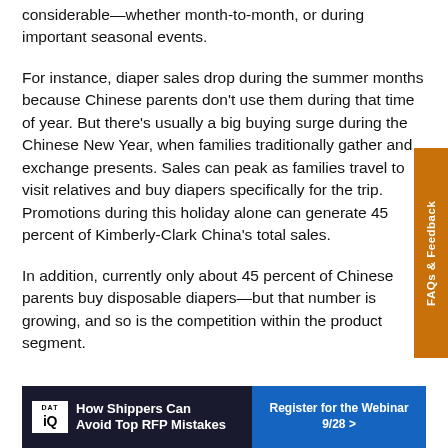considerable—whether month-to-month, or during important seasonal events.
For instance, diaper sales drop during the summer months because Chinese parents don't use them during that time of year. But there's usually a big buying surge during the Chinese New Year, when families traditionally gather and exchange presents. Sales can peak as families travel to visit relatives and buy diapers specifically for the trip. Promotions during this holiday alone can generate 45 percent of Kimberly-Clark China's total sales.
In addition, currently only about 45 percent of Chinese parents buy disposable diapers—but that number is growing, and so is the competition within the product segment.
[Figure (other): Orange vertical tab on right side reading 'FAQs & Feedback']
[Figure (other): Advertisement banner for DAT iQ: 'How Shippers Can Avoid Top RFP Mistakes' with 'Register for the Webinar 9/28 >' call to action on blue background]